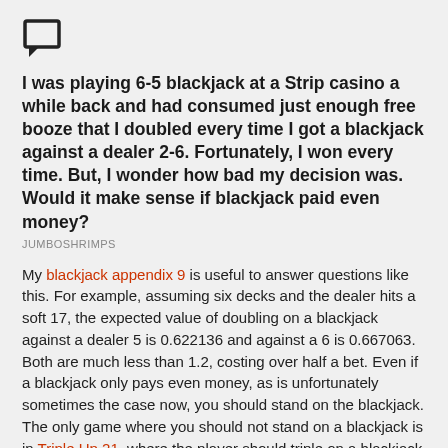[Figure (other): Chat/comment icon — a speech bubble outline square]
I was playing 6-5 blackjack at a Strip casino a while back and had consumed just enough free booze that I doubled every time I got a blackjack against a dealer 2-6. Fortunately, I won every time. But, I wonder how bad my decision was. Would it make sense if blackjack paid even money?
JUMBOSHRIMPS
My blackjack appendix 9 is useful to answer questions like this. For example, assuming six decks and the dealer hits a soft 17, the expected value of doubling on a blackjack against a dealer 5 is 0.622136 and against a 6 is 0.667063. Both are much less than 1.2, costing over half a bet. Even if a blackjack only pays even money, as is unfortunately sometimes the case now, you should stand on the blackjack. The only game where you should not stand on a blackjack is in Triple Up 21, where the player should triple on a blackjack against a dealer 6.